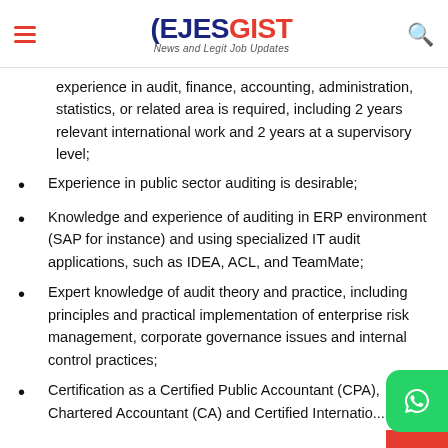EJESGIST - News and Legit Job Updates
experience in audit, finance, accounting, administration, statistics, or related area is required, including 2 years relevant international work and 2 years at a supervisory level;
Experience in public sector auditing is desirable;
Knowledge and experience of auditing in ERP environment (SAP for instance) and using specialized IT audit applications, such as IDEA, ACL, and TeamMate;
Expert knowledge of audit theory and practice, including principles and practical implementation of enterprise risk management, corporate governance issues and internal control practices;
Certification as a Certified Public Accountant (CPA), Chartered Accountant (CA) and Certified International...